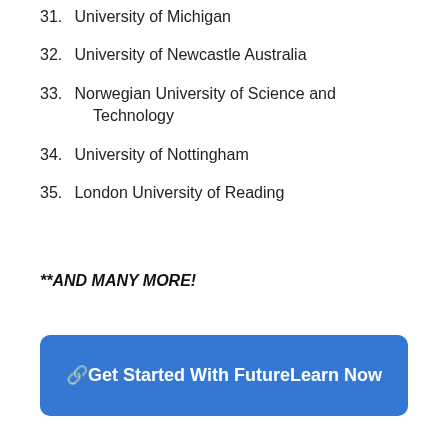31. University of Michigan
32. University of Newcastle Australia
33. Norwegian University of Science and Technology
34. University of Nottingham
35. London University of Reading
**AND MANY MORE!
🔗Get Started With FutureLearn Now